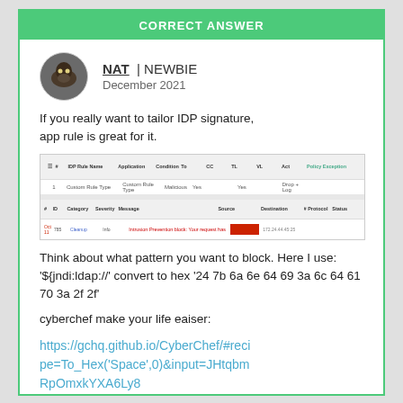CORRECT ANSWER
NAT  |  NEWBIE
December 2021
If you really want to tailor IDP signature, app rule is great for it.
[Figure (screenshot): Screenshot of a network/firewall rule interface showing a table with columns for rule configuration, and a second table showing a log entry with red highlighted alert text and a red block indicating a blocked item.]
Think about what pattern you want to block. Here I use: '${jndi:ldap://' convert to hex '24 7b 6a 6e 64 69 3a 6c 64 61 70 3a 2f 2f'
cyberchef make your life eaiser:
https://gchq.github.io/CyberChef/#recipe=To_Hex('Space',0)&input=JHtqbmRpOmxkYXA6Ly8